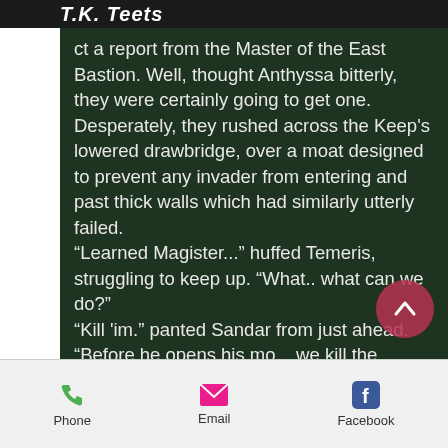by T.K. Teets
ct a report from the Master of the East Bastion. Well, thought Anthyssa bitterly, they were certainly going to get one. Desperately, they rushed across the Keep's lowered drawbridge, over a moat designed to prevent any invader from entering and past thick walls which had similarly utterly failed.
“Learned Magister...” huffed Temeris, struggling to keep up. “What.. what can we do?”
“Kill 'im.” panted Sandar from just ahead. “Before he opens his mo... we kill the bastard.”
Anthyssa hated Sandar's conclusion,
Phone  Email  Facebook